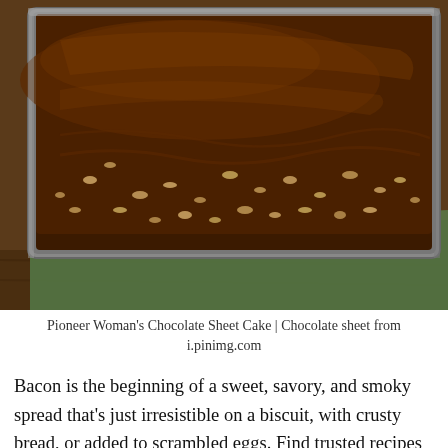[Figure (photo): A chocolate sheet cake with glossy chocolate frosting and pecan pieces scattered on top, in a metal baking pan, set on a wooden surface with a green cloth napkin underneath.]
Pioneer Woman's Chocolate Sheet Cake | Chocolate sheet from i.pinimg.com
Bacon is the beginning of a sweet, savory, and smoky spread that's just irresistible on a biscuit, with crusty bread, or added to scrambled eggs. Find trusted recipes for homemade sweet preserves like strawberry jam, marmalade, and grape jelly, to spicy, savory condiments like mint jelly or pepper jelly, with ratings, reviews, and